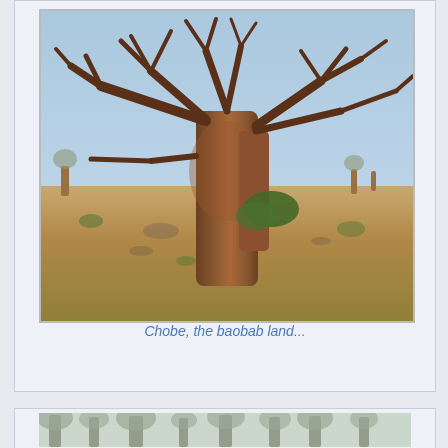[Figure (photo): Large baobab tree in dry savanna landscape with bare branches against a clear sky, dry brown ground with sparse vegetation]
Chobe, the baobab land...
[Figure (photo): Dense trees in misty or hazy conditions, forest scene with multiple trees visible]